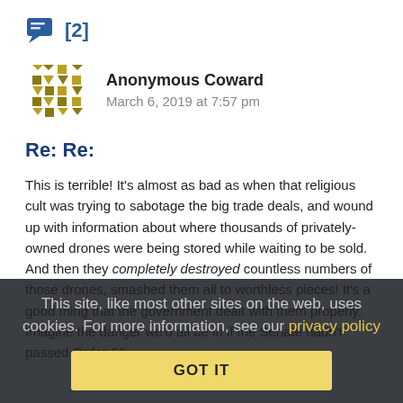[Figure (other): Comment thread icon with count [2]]
[Figure (other): Anonymous Coward avatar - geometric mosaic pattern in olive/gold colors]
Anonymous Coward   March 6, 2019 at 7:57 pm
Re: Re:
This is terrible! It's almost as bad as when that religious cult was trying to sabotage the big trade deals, and wound up with information about where thousands of privately-owned drones were being stored while waiting to be sold. And then they completely destroyed countless numbers of those drones, smashed them all to worthless pieces! It's a good thing that the government dealt with them properly. Imagine the danger we'd all be in if the Senate hadn't passed Order 66.
This site, like most other sites on the web, uses cookies. For more information, see our privacy policy  GOT IT